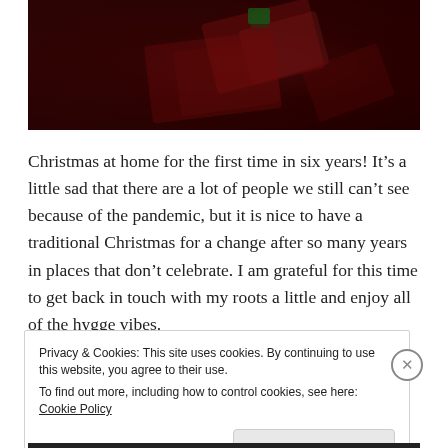[Figure (photo): Dark red/maroon photograph of wrapped Christmas gift boxes or packages with a green element visible, dimly lit with dark background]
Christmas at home for the first time in six years! It’s a little sad that there are a lot of people we still can’t see because of the pandemic, but it is nice to have a traditional Christmas for a change after so many years in places that don’t celebrate. I am grateful for this time to get back in touch with my roots a little and enjoy all of the hygge vibes.
Privacy & Cookies: This site uses cookies. By continuing to use this website, you agree to their use.
To find out more, including how to control cookies, see here: Cookie Policy
Close and accept